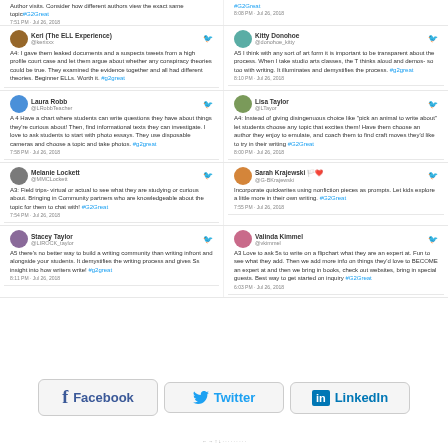Author visits. Consider how different authors view the exact same topic#G2Great
7:51 PM - Jul 26, 2018
#G2Great
8:08 PM - Jul 26, 2018
Keri (The ELL Experience) @kerixxx
A4: I gave them leaked documents and a suspects tweets from a high profile court case and let them argue about whether any conspiracy theories could be true. They examined the evidence together and all had different theories. Beginner ELLs. Worth it. #g2great
Kitty Donohoe @donohoe_kitty
A5 I think with any sort of art form it is important to be transparent about the process. When I take studio arts classes, the T thinks aloud and demos- so too with writing. It illuminates and demystifies the process. #g2great
8:10 PM - Jul 26, 2018
Laura Robb @LRobbTeacher
A 4 Have a chart where students can write questions they have about things they're curious about! Then, find informational texts they can investigate. I love to ask students to start with photo essays. They use disposable cameras and choose a topic and take photos. #g2great
7:58 PM - Jul 26, 2018
Lisa Taylor @LTayor
A4: Instead of giving disingenuous choice like "pick an animal to write about" let students choose any topic that excites them! Have them choose an author they enjoy to emulate, and coach them to find craft moves they'd like to try in their writing #G2Great
8:00 PM - Jul 26, 2018
Melanie Lockett @MMCLockett
A3: Field trips- virtual or actual to see what they are studying or curious about. Bringing in Community partners who are knowledgeable about the topic for them to chat with! #G2Great
7:54 PM - Jul 26, 2018
Sarah Krajewski @G-BKrajewski
Incorporate quickwrites using nonfiction pieces as prompts. Let kids explore a little more in their own writing. #G2Great
7:55 PM - Jul 26, 2018
Stacey Taylor @LIROCK_taylor
A5 there's no better way to build a writing community than writing infront and alongside your students. It demystifies the writing process and gives Ss insight into how writers write! #g2great
8:11 PM - Jul 26, 2018
Valinda Kimmel @vkimmel
A3 Love to ask 5s to write on a flipchart what they are an expert at. Fun to see what they add. Then we add more info on things they'd love to BECOME an expert at and then we bring in books, check out websites, bring in special guests. Best way to get started on inquiry #G2Great
6:03 PM - Jul 26, 2018
[Figure (infographic): Social share buttons for Facebook, Twitter, LinkedIn]